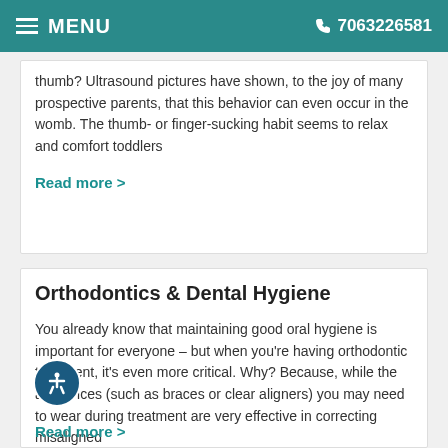≡ MENU  7063226581
thumb? Ultrasound pictures have shown, to the joy of many prospective parents, that this behavior can even occur in the womb. The thumb- or finger-sucking habit seems to relax and comfort toddlers
Read more >
Orthodontics & Dental Hygiene
You already know that maintaining good oral hygiene is important for everyone – but when you're having orthodontic treatment, it's even more critical. Why? Because, while the appliances (such as braces or clear aligners) you may need to wear during treatment are very effective in correcting misaligned
Read more >